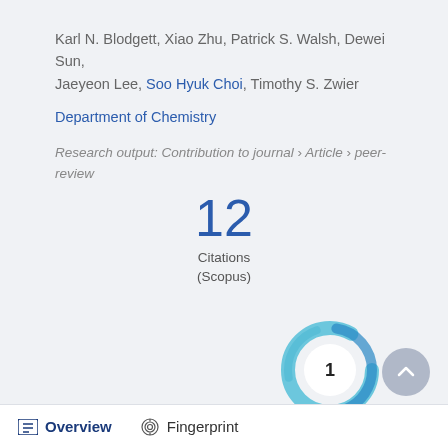Karl N. Blodgett, Xiao Zhu, Patrick S. Walsh, Dewei Sun, Jaeyeon Lee, Soo Hyuk Choi, Timothy S. Zwier
Department of Chemistry
Research output: Contribution to journal › Article › peer-review
[Figure (infographic): Citation count: 12 Citations (Scopus)]
[Figure (donut-chart): Donut/ring badge showing number 1 in center, styled with teal/blue swirl ring around white center circle]
Overview  Fingerprint